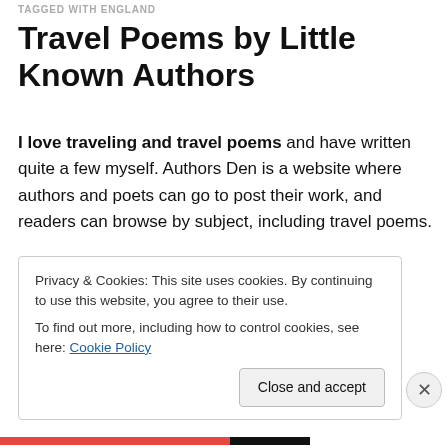TAGGED WITH ENGLAND
Travel Poems by Little Known Authors
I love traveling and travel poems and have written quite a few myself. Authors Den is a website where authors and poets can go to post their work, and readers can browse by subject, including travel poems.
I read through a few of the travel poems on the site today, and here are the beginnings of 5 of my favorites.  You
Privacy & Cookies: This site uses cookies. By continuing to use this website, you agree to their use.
To find out more, including how to control cookies, see here: Cookie Policy
Close and accept